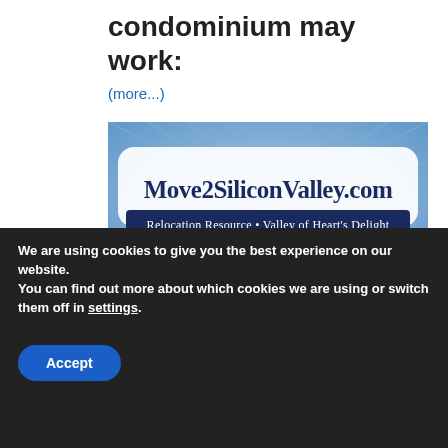condominium may work:
(more...)
[Figure (logo): Move2SiliconValley.com banner logo with text 'Relocation Resource • Valley of Heart's Delight' on a blue background with radiating stripes]
[Figure (infographic): Row of country flag icons for language selection including Arabic, Chinese, Dutch, American, Filipino, French, German, Greek, Indian, Italian, Korean, unknown, Georgian, Portuguese flags in row 1, and Russian, Spanish, Ukrainian, Vietnamese flags in row 2]
Select la...
We are using cookies to give you the best experience on our website.
You can find out more about which cookies we are using or switch them off in settings.
Accept